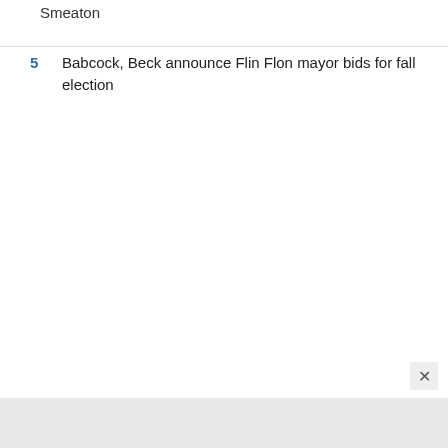Smeaton
5 Babcock, Beck announce Flin Flon mayor bids for fall election